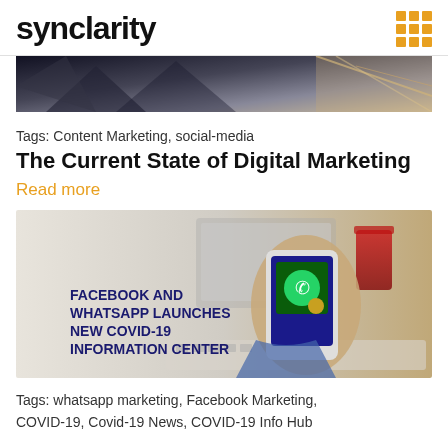synclarity
[Figure (photo): Dark abstract geometric background image with triangular shapes and light streaks]
Tags: Content Marketing, social-media
The Current State of Digital Marketing
Read more
[Figure (photo): Person holding a smartphone showing COVID app, text overlay reads FACEBOOK AND WHATSAPP LAUNCHES NEW COVID-19 INFORMATION CENTER]
Tags: whatsapp marketing, Facebook Marketing, COVID-19, Covid-19 News, COVID-19 Info Hub